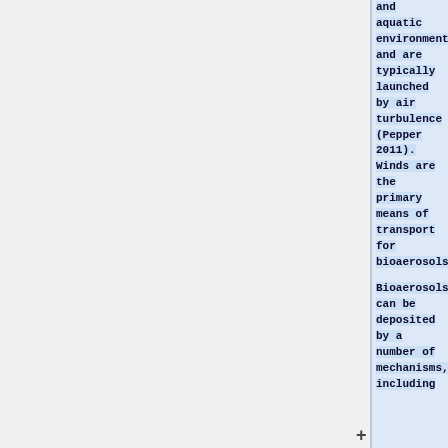and aquatic environments and are typically launched by air turbulence (Pepper 2011). Winds are the primary means of transport for bioaerosols.
Bioaerosols can be deposited by a number of mechanisms, including